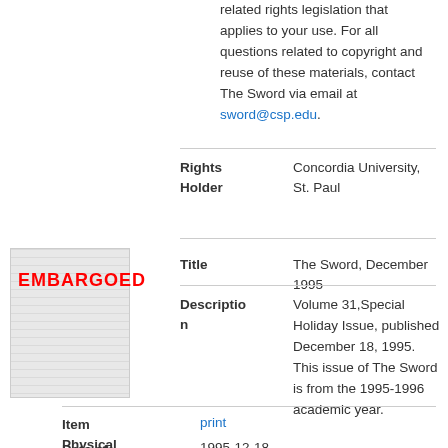related rights legislation that applies to your use. For all questions related to copyright and reuse of these materials, contact The Sword via email at sword@csp.edu.
| Field | Value |
| --- | --- |
| Rights Holder | Concordia University, St. Paul |
| Title | The Sword, December 1995 |
| Description | Volume 31,Special Holiday Issue, published December 18, 1995. This issue of The Sword is from the 1995-1996 academic year. |
| Item Physical Format | print |
| Date of | 1995-12-18 |